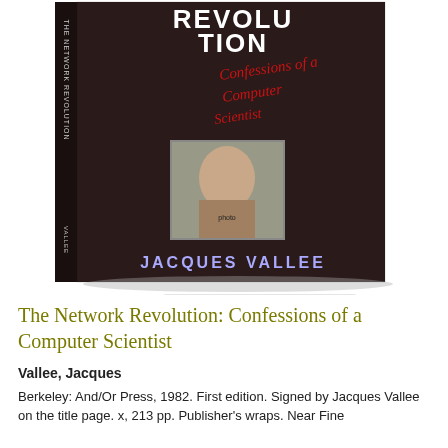[Figure (photo): Book cover of 'The Network Revolution: Confessions of a Computer Scientist' by Jacques Vallee, with a signed card below showing the author's signature 'Jacques Vallee']
The Network Revolution: Confessions of a Computer Scientist
Vallee, Jacques
Berkeley: And/Or Press, 1982. First edition. Signed by Jacques Vallee on the title page. x, 213 pp. Publisher's wraps. Near Fine